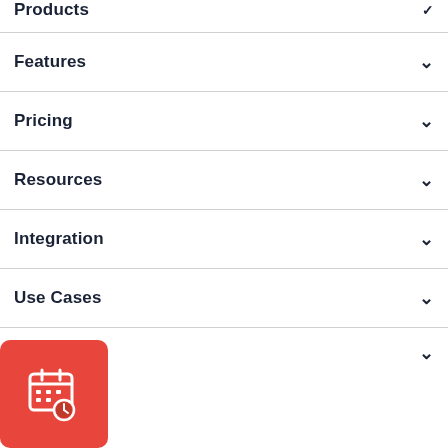Products
Features
Pricing
Resources
Integration
Use Cases
[Figure (illustration): Red rounded square floating button with a calendar/clock icon in white]
Industries